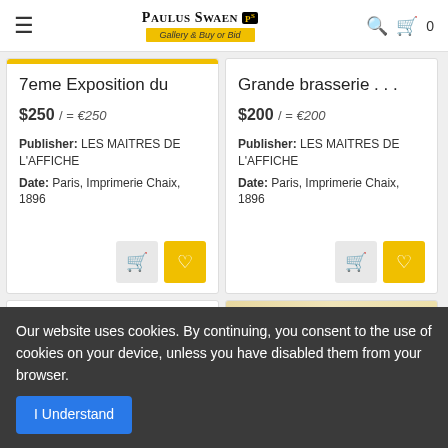Paulus Swaen — Gallery & Buy or Bid
7eme Exposition du
$250 / = €250
Publisher: LES MAITRES DE L'AFFICHE
Date: Paris, Imprimerie Chaix, 1896
Grande brasserie . . .
$200 / = €200
Publisher: LES MAITRES DE L'AFFICHE
Date: Paris, Imprimerie Chaix, 1896
Our website uses cookies. By continuing, you consent to the use of cookies on your device, unless you have disabled them from your browser.
I Understand